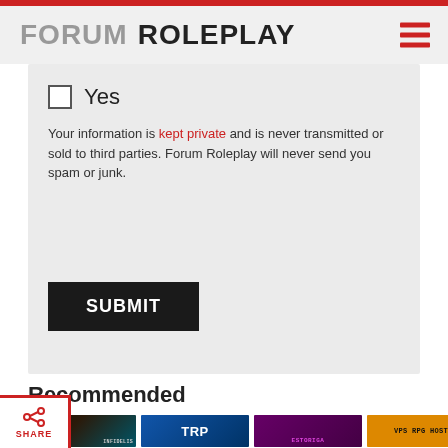FORUM ROLEPLAY
Yes
Your information is kept private and is never transmitted or sold to third parties. Forum Roleplay will never send you spam or junk.
SUBMIT
Recommended
[Figure (illustration): Row of banner advertisement images: INFIDELIS (dark with dog photo), TRP (blue fantasy art), ESTORIGA (purple fantasy), VPS RPG HOST (orange), RPG DOMAINS (olive green)]
[Figure (illustration): Share button with share icon at bottom left]